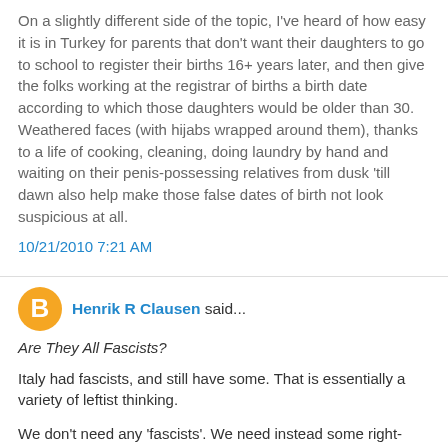On a slightly different side of the topic, I've heard of how easy it is in Turkey for parents that don't want their daughters to go to school to register their births 16+ years later, and then give the folks working at the registrar of births a birth date according to which those daughters would be older than 30. Weathered faces (with hijabs wrapped around them), thanks to a life of cooking, cleaning, doing laundry by hand and waiting on their penis-possessing relatives from dusk 'till dawn also help make those false dates of birth not look suspicious at all.
10/21/2010 7:21 AM
Henrik R Clausen said...
Are They All Fascists?
Italy had fascists, and still have some. That is essentially a variety of leftist thinking.
We don't need any 'fascists'. We need instead some right-wing thinking, where the benefit of working goes to